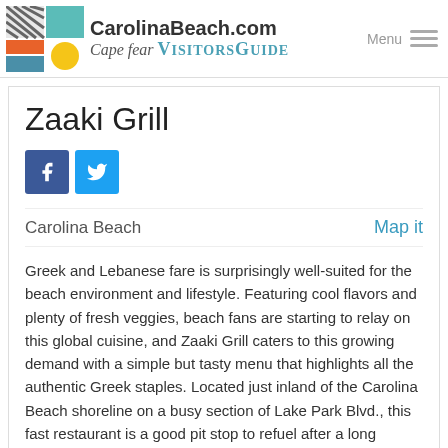CarolinaBeach.com Cape Fear VISITORSGUIDE
Zaaki Grill
[Figure (other): Facebook and Twitter social media icon buttons]
Carolina Beach    Map it
Greek and Lebanese fare is surprisingly well-suited for the beach environment and lifestyle. Featuring cool flavors and plenty of fresh veggies, beach fans are starting to relay on this global cuisine, and Zaaki Grill caters to this growing demand with a simple but tasty menu that highlights all the authentic Greek staples. Located just inland of the Carolina Beach shoreline on a busy section of Lake Park Blvd., this fast restaurant is a good pit stop to refuel after a long morning or afternoon on the shore.